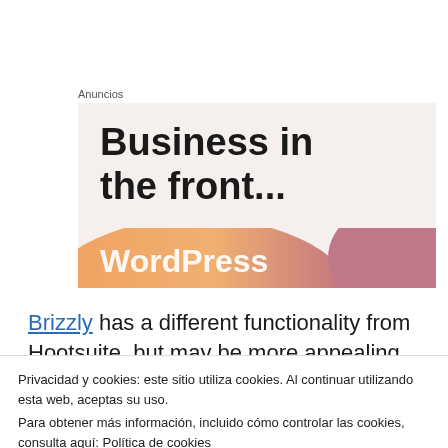Anuncios
[Figure (illustration): Advertisement banner with text 'Business in the front...' in bold black on a light beige background, with an orange-to-pink gradient bar at the bottom showing partial 'WordPress' text.]
Brizzly has a different functionality from Hootsuite, but may be more appealing because
Privacidad y cookies: este sitio utiliza cookies. Al continuar utilizando esta web, aceptas su uso.
Para obtener más información, incluido cómo controlar las cookies, consulta aquí: Política de cookies
features like automatically expanded URLs,